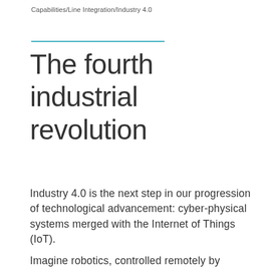Capabilities/Line Integration/Industry 4.0
The fourth industrial revolution
Industry 4.0 is the next step in our progression of technological advancement: cyber-physical systems merged with the Internet of Things (IoT).
Imagine robotics, controlled remotely by...